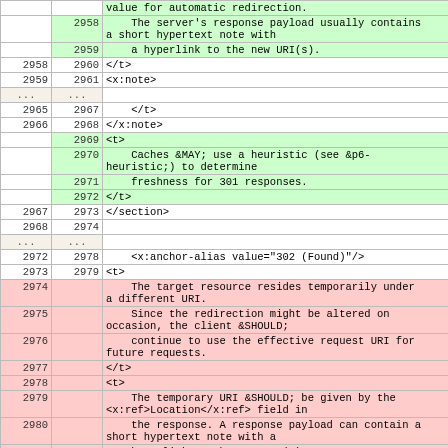| col-a | col-b | content |
| --- | --- | --- |
|  |  | value for automatic redirection. |
|  | 2958 |     The server's response payload usually contains
a short hypertext note with |
|  | 2959 |     a hyperlink to the new URI(s). |
| 2958 | 2960 | </t> |
| 2959 | 2961 | <x:note> |
| ... | ... |  |
| 2965 | 2967 |     </t> |
| 2966 | 2968 | </x:note> |
|  | 2969 | <t> |
|  | 2970 |     Caches &MAY; use a heuristic (see &p6-
heuristic;) to determine |
|  | 2971 |     freshness for 301 responses. |
|  | 2972 | </t> |
| 2967 | 2973 | </section> |
| 2968 | 2974 |  |
| ... | ... |  |
| 2972 | 2978 |     <x:anchor-alias value="302 (Found)"/> |
| 2973 | 2979 | <t> |
| 2974 |  |     The target resource resides temporarily under
a different URI. |
| 2975 |  |     Since the redirection might be altered on
occasion, the client &SHOULD; |
| 2976 |  |     continue to use the effective request URI for
future requests. |
| 2977 |  | </t> |
| 2978 |  | <t> |
| 2979 |  |     The temporary URI &SHOULD; be given by the
<x:ref>Location</x:ref> field in |
| 2980 |  |     the response. A response payload can contain a
short hypertext note with a |
| 2981 |  |     hyperlink to the new URI(s). |
|  | 2980 |     The <x:dfn>302 (Found)</x:dfn> status code |